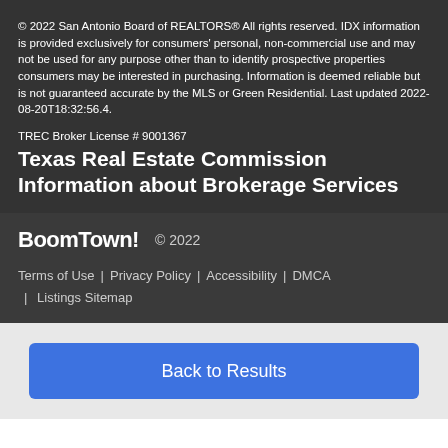© 2022 San Antonio Board of REALTORS® All rights reserved. IDX information is provided exclusively for consumers' personal, non-commercial use and may not be used for any purpose other than to identify prospective properties consumers may be interested in purchasing. Information is deemed reliable but is not guaranteed accurate by the MLS or Green Residential. Last updated 2022-08-20T18:32:56.4.
TREC Broker License # 9001367
Texas Real Estate Commission Information about Brokerage Services
BoomTown! © 2022 | Terms of Use | Privacy Policy | Accessibility | DMCA | Listings Sitemap
Back to Results